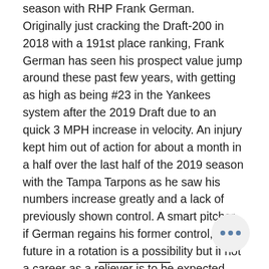season with RHP Frank German. Originally just cracking the Draft-200 in 2018 with a 191st place ranking, Frank German has seen his prospect value jump around these past few years, with getting as high as being #23 in the Yankees system after the 2019 Draft due to an quick 3 MPH increase in velocity. An injury kept him out of action for about a month in a half over the last half of the 2019 season with the Tampa Tarpons as he saw his numbers increase greatly and a lack of previously shown control. A smart pitcher, if German regains his former control, a future in a rotation is a possibility but if not a career as a reliever is to be expected.